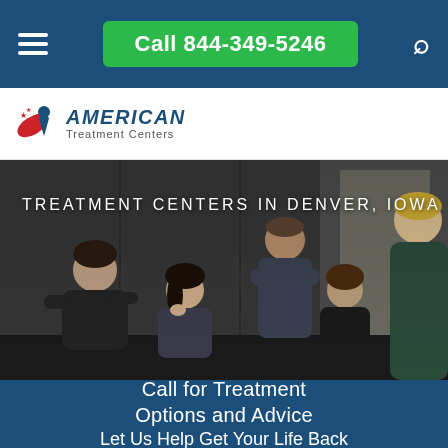Call 844-349-5246
[Figure (logo): American Treatment Centers logo with eagle/figure icon in red, white, and blue]
[Figure (photo): Group therapy session: four people sitting in a dark room looking troubled, with a fifth person partially visible on the right]
TREATMENT CENTERS IN DENVER, IOWA
Call for Treatment Options and Advice
Let Us Help Get Your Life Back